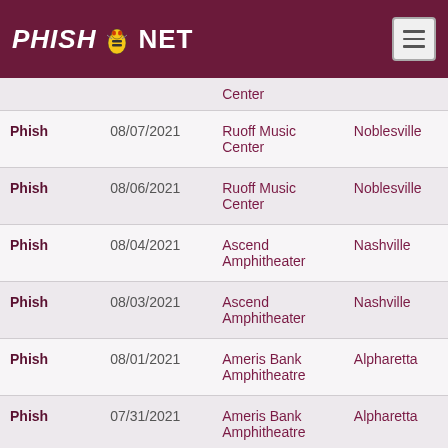PHISH.NET
| Band | Date | Venue | City |
| --- | --- | --- | --- |
|  |  | Center |  |
| Phish | 08/07/2021 | Ruoff Music Center | Noblesville |
| Phish | 08/06/2021 | Ruoff Music Center | Noblesville |
| Phish | 08/04/2021 | Ascend Amphitheater | Nashville |
| Phish | 08/03/2021 | Ascend Amphitheater | Nashville |
| Phish | 08/01/2021 | Ameris Bank Amphitheatre | Alpharetta |
| Phish | 07/31/2021 | Ameris Bank Amphitheatre | Alpharetta |
| Phish | 07/30/2021 | Oak Mountain | Pelham |